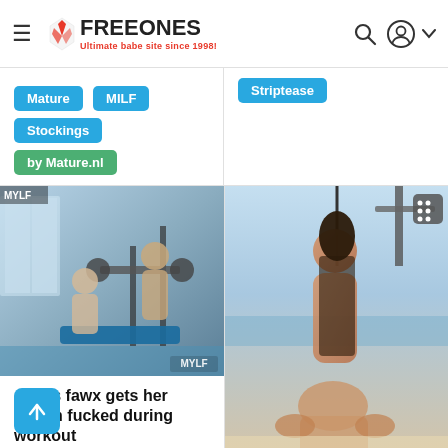FREEONES - Ultimate babe site since 1998!
Mature  MILF  Stockings  by Mature.nl
Striptease
[Figure (photo): Gym scene thumbnail with MYLF watermark]
Alexis fawx gets her mouth fucked during workout
324 views
Hardcore  by MYLF
[Figure (photo): Outdoor deck/boat scene thumbnail]
Deckhand is riding a hard cock on the deck at sea
76 views